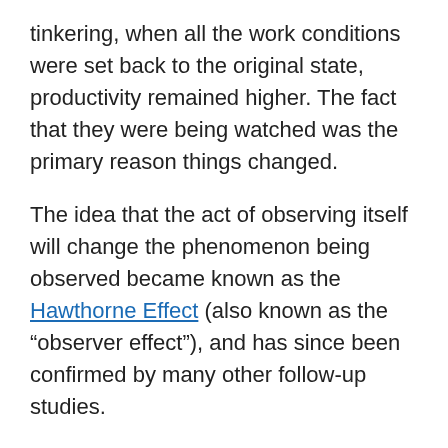tinkering, when all the work conditions were set back to the original state, productivity remained higher. The fact that they were being watched was the primary reason things changed.
The idea that the act of observing itself will change the phenomenon being observed became known as the Hawthorne Effect (also known as the “observer effect”), and has since been confirmed by many other follow-up studies.
Application to Personal Finances
While this seems like common sense, it is actually quite powerful to know that simply noting down what you spend every day or month in itself may improve your finances. You could set a budget or analyze trends later, but don’t worry about that for now. Don’t judge your expenses. Don’t try to change them. Just track them.